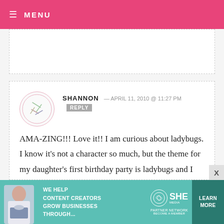MENU
SHANNON — APRIL 11, 2010 @ 11:27 PM  REPLY
AMA-ZING!!! Love it!! I am curious about ladybugs. I know it's not a character so much, but the theme for my daughter's first birthday party is ladybugs and I would love to make some pops as favors. Also, can't wait till the book comes out. If you are on a book tour, I hope hope hope you come
[Figure (infographic): SHE Media Partner Network advertisement banner: woman with laptop, text 'We help content creators grow businesses through...', SHE logo, 'Learn More' button]